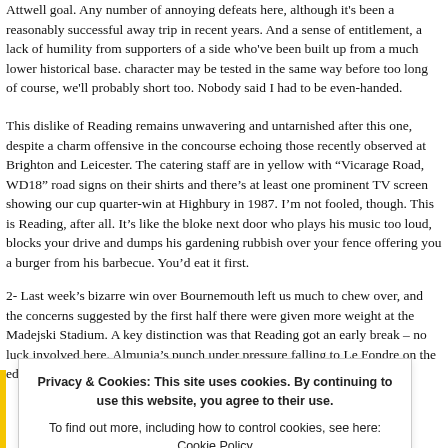Attwell goal. Any number of annoying defeats here, although it's been a reasonably successful away trip in recent years. And a sense of entitlement, a lack of humility from supporters of a side who've been built up from a much lower historical base. character may be tested in the same way before too long of course, we'll probably short too. Nobody said I had to be even-handed.
This dislike of Reading remains unwavering and untarnished after this one, despite a charm offensive in the concourse echoing those recently observed at Brighton and Leicester. The catering staff are in yellow with "Vicarage Road, WD18" road signs on their shirts and there's at least one prominent TV screen showing our cup quarter-win at Highbury in 1987. I'm not fooled, though. This is Reading, after all. It's like the bloke next door who plays his music too loud, blocks your drive and dumps his gardening rubbish over your fence offering you a burger from his barbecue. You'd eat it first.
2- Last week's bizarre win over Bournemouth left us much to chew over, and the concerns suggested by the first half there were given more weight at the Madejski Stadium. A key distinction was that Reading got an early break – no luck involved here. Almunia's punch under pressure falling to Le Fondre on the edge of the area…
Privacy & Cookies: This site uses cookies. By continuing to use this website, you agree to their use. To find out more, including how to control cookies, see here: Cookie Policy
Close and accept